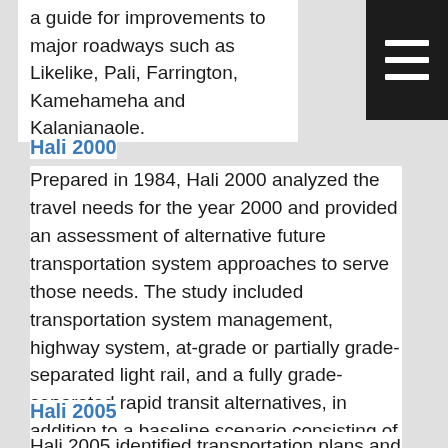a guide for improvements to major roadways such as Likelike, Pali, Farrington, Kamehameha and Kalanianaole.
Hali 2000
Prepared in 1984, Hali 2000 analyzed the travel needs for the year 2000 and provided an assessment of alternative future transportation system approaches to serve those needs. The study included transportation system management, highway system, at-grade or partially grade-separated light rail, and a fully grade-separated rapid transit alternatives, in addition to a baseline scenario consisting of committed projects. Costs and impacts on various system performance and environmental measures were estimated for each alternative.
Hali 2005
Hali 2005 identified transportation plans and